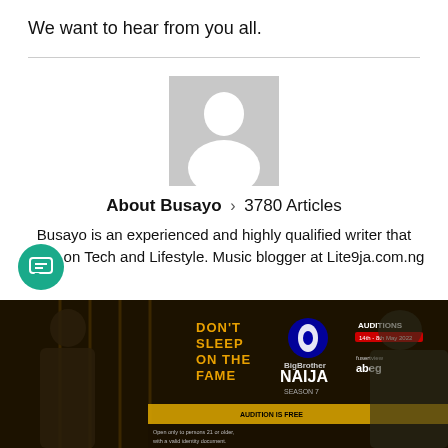We want to hear from you all.
[Figure (illustration): Default avatar placeholder image — grey square with white silhouette of a person]
About Busayo > 3780 Articles
Busayo is an experienced and highly qualified writer that focus on Tech and Lifestyle. Music blogger at Lite9ja.com.ng
[Figure (photo): Big Brother Naija Season 7 advertisement banner showing two people and text: DON'T SLEEP ON THE FAME, BigBrother NAIJA SEASON 7, AUDITIONS, AUDITION IS FREE, Open only to persons 21 or older with a valid identity document, fusertview, abeg]